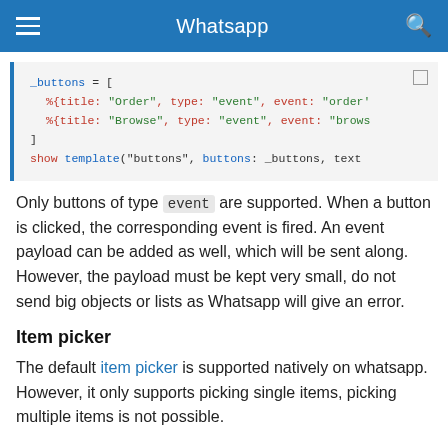Whatsapp
[Figure (screenshot): Code block showing _buttons array with %{title, type, event} entries and show template call]
Only buttons of type event are supported. When a button is clicked, the corresponding event is fired. An event payload can be added as well, which will be sent along. However, the payload must be kept very small, do not send big objects or lists as Whatsapp will give an error.
Item picker
The default item picker is supported natively on whatsapp. However, it only supports picking single items, picking multiple items is not possible.